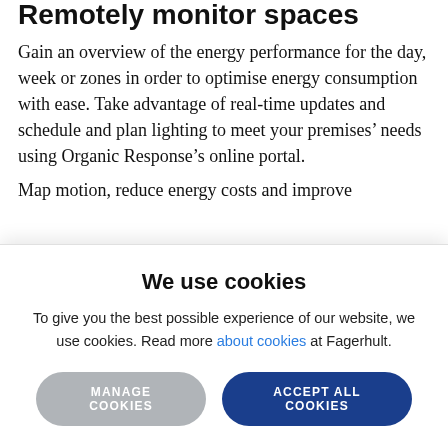Remotely monitor spaces
Gain an overview of the energy performance for the day, week or zones in order to optimise energy consumption with ease. Take advantage of real-time updates and schedule and plan lighting to meet your premises’ needs using Organic Response’s online portal.
Map motion, reduce energy costs and improve
We use cookies
To give you the best possible experience of our website, we use cookies. Read more about cookies at Fagerhult.
MANAGE COOKIES   ACCEPT ALL COOKIES